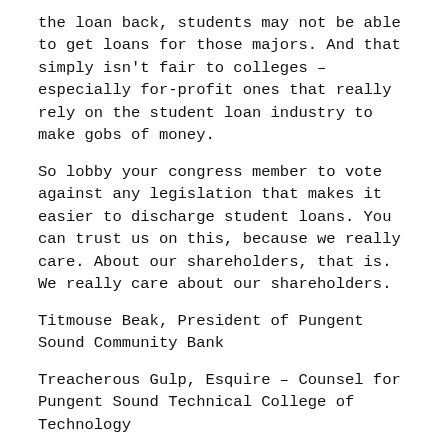the loan back, students may not be able to get loans for those majors. And that simply isn't fair to colleges – especially for-profit ones that really rely on the student loan industry to make gobs of money.
So lobby your congress member to vote against any legislation that makes it easier to discharge student loans. You can trust us on this, because we really care. About our shareholders, that is. We really care about our shareholders.
Titmouse Beak, President of Pungent Sound Community Bank
Treacherous Gulp, Esquire – Counsel for Pungent Sound Technical College of Technology
Share this: